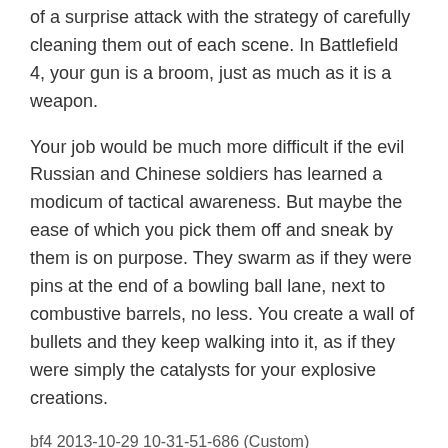of a surprise attack with the strategy of carefully cleaning them out of each scene. In Battlefield 4, your gun is a broom, just as much as it is a weapon.
Your job would be much more difficult if the evil Russian and Chinese soldiers has learned a modicum of tactical awareness. But maybe the ease of which you pick them off and sneak by them is on purpose. They swarm as if they were pins at the end of a bowling ball lane, next to combustive barrels, no less. You create a wall of bullets and they keep walking into it, as if they were simply the catalysts for your explosive creations.
bf4 2013-10-29 10-31-51-686 (Custom)
It's a shame, because the sprawling canvasses of Battlefield 4 are crafted to support dynamic back-and-forths. Each battleground has pockets of debris, stacks of crates, rising structures, or even abandoned houses to hide and attack from, and almost all of them allow you to climb upward and gain the advantage of high ground before you grow bored of your lame prey or the building crumbles beneath your boots.
Thankfully, when the pressure to travel to and from cover is light, the game pummels you with a specific visual palette to gaze at. The bright reds, cold blues, and smooth greens are simplistic, but